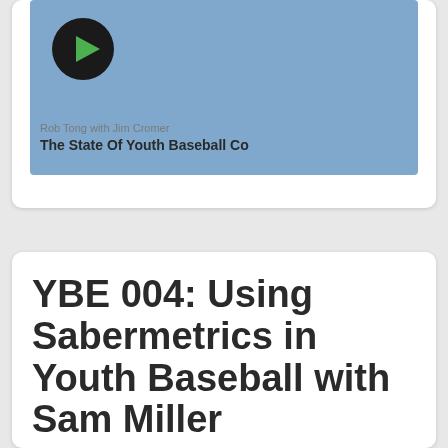[Figure (screenshot): Podcast card showing a blue thumbnail with a play button, author Rob Tong with Jim Cromer, and title The State Of Youth Baseball Co]
Rob Tong with Jim Cromer
The State Of Youth Baseball Co
YBE 004: Using Sabermetrics in Youth Baseball with Sam Miller